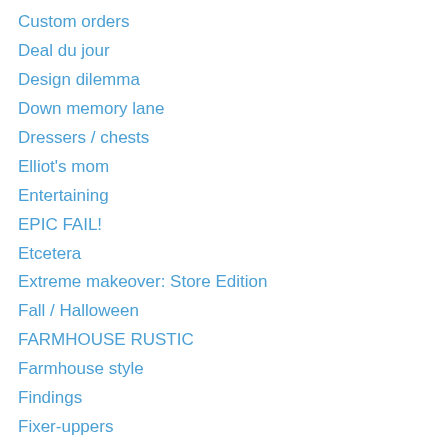Custom orders
Deal du jour
Design dilemma
Down memory lane
Dressers / chests
Elliot's mom
Entertaining
EPIC FAIL!
Etcetera
Extreme makeover: Store Edition
Fall / Halloween
FARMHOUSE RUSTIC
Farmhouse style
Findings
Fixer-uppers
Folk Art Originals
For baby
Frames
Free patterns
Gadgets